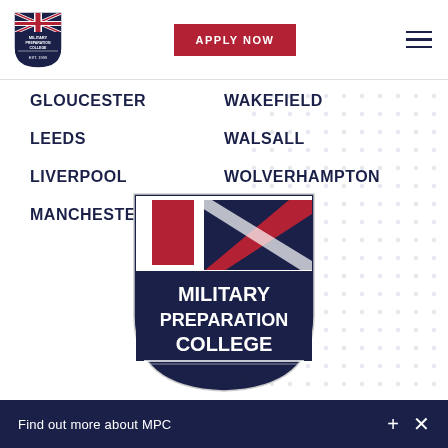Military Preparation College — APPLY NOW — Navigation
GLOUCESTER
WAKEFIELD
LEEDS
WALSALL
LIVERPOOL
WOLVERHAMPTON
MANCHESTER
WREXHAM
[Figure (logo): Military Preparation College shield logo — navy blue shield with Union Jack pattern (red, white, dark blue), text MILITARY PREPARATION COLLEGE, EST.1999]
Find out more about MPC + ×